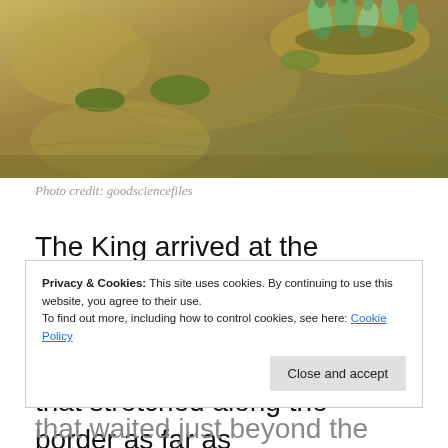[Figure (photo): Close-up macro photograph of a small plant or succulent with green fleshy leaves/fingers growing on a rocky, mossy surface with earthy tones of tan and green.]
Photo credit: goodsciencefiles
The King arrived at the southern border with a squad of Knights at his back. More Knights stood guard in a line that stretched along the border as far as
Privacy & Cookies: This site uses cookies. By continuing to use this website, you agree to their use.
To find out more, including how to control cookies, see here: Cookie Policy
that waited just beyond the trees.